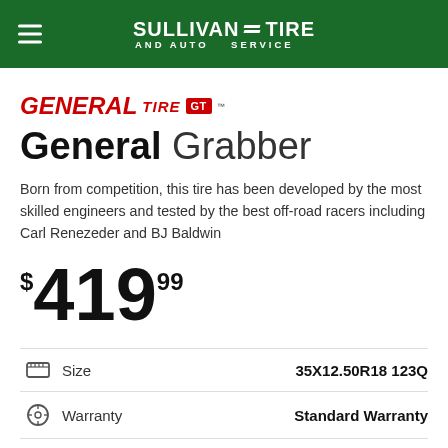Sullivan Tire and Auto Service
[Figure (logo): General Tire GT logo in red italic with GT badge]
General Grabber
Born from competition, this tire has been developed by the most skilled engineers and tested by the best off-road racers including Carl Renezeder and BJ Baldwin
$419.99
|  | Attribute | Value |
| --- | --- | --- |
| size icon | Size | 35X12.50R18 123Q |
| warranty icon | Warranty | Standard Warranty |
| season icon | Season | All Season |